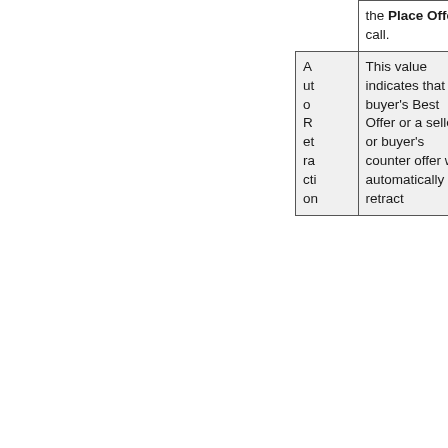|  | the Place Offer call. |
| AutoRetraction | This value indicates that a buyer's Best Offer or a seller's or buyer's counter offer was automatically retract... |